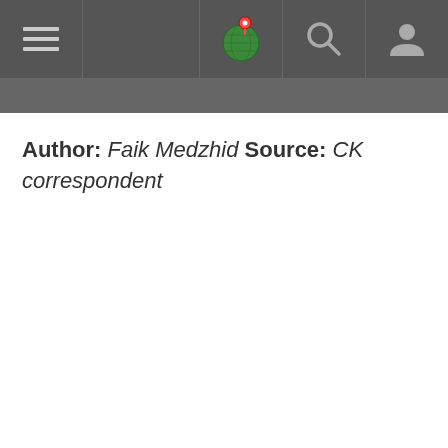[Figure (screenshot): Website navigation bar with hamburger menu icon on the left, globe/location icon, search icon, and user profile icon on the right, on a dark gray background]
Author: Faik Medzhid Source: CK correspondent